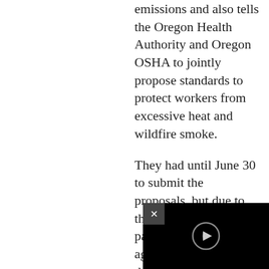emissions and also tells the Oregon Health Authority and Oregon OSHA to jointly propose standards to protect workers from excessive heat and wildfire smoke.
They had until June 30 to submit the proposals, but due to the coronavirus pandemic, the two agencies requested the deadline be pushed back to September.
In Bend, Oregon, a scenic town next to the Cascade Range, bodies of two men were found